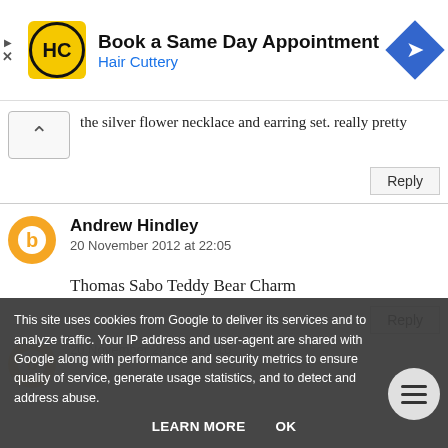[Figure (screenshot): Hair Cuttery ad banner: yellow logo with HC, text 'Book a Same Day Appointment / Hair Cuttery', blue diamond arrow icon on right, play and X controls on left]
the silver flower necklace and earring set. really pretty
Reply
Andrew Hindley
20 November 2012 at 22:05
Thomas Sabo Teddy Bear Charm
Reply
This site uses cookies from Google to deliver its services and to analyze traffic. Your IP address and user-agent are shared with Google along with performance and security metrics to ensure quality of service, generate usage statistics, and to detect and address abuse.
LEARN MORE   OK